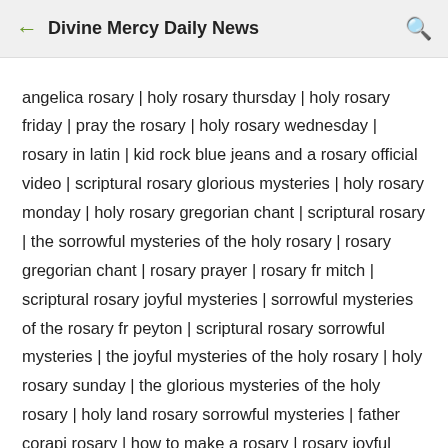Divine Mercy Daily News
angelica rosary | holy rosary thursday | holy rosary friday | pray the rosary | holy rosary wednesday | rosary in latin | kid rock blue jeans and a rosary official video | scriptural rosary glorious mysteries | holy rosary monday | holy rosary gregorian chant | scriptural rosary | the sorrowful mysteries of the holy rosary | rosary gregorian chant | rosary prayer | rosary fr mitch | scriptural rosary joyful mysteries | sorrowful mysteries of the rosary fr peyton | scriptural rosary sorrowful mysteries | the joyful mysteries of the holy rosary | holy rosary sunday | the glorious mysteries of the holy rosary | holy land rosary sorrowful mysteries | father corapi rosary | how to make a rosary | rosary joyful mysteries | the rosary